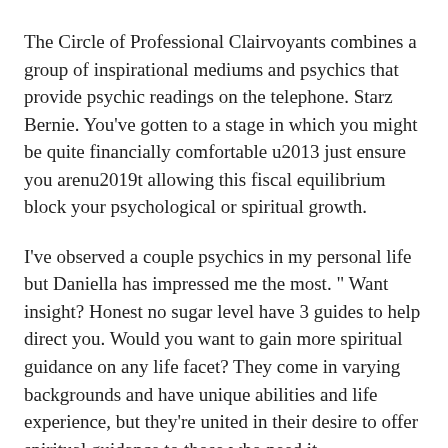The Circle of Professional Clairvoyants combines a group of inspirational mediums and psychics that provide psychic readings on the telephone. Starz Bernie. You've gotten to a stage in which you might be quite financially comfortable u2013 just ensure you arenu2019t allowing this fiscal equilibrium block your psychological or spiritual growth.
I've observed a couple psychics in my personal life but Daniella has impressed me the most. " Want insight? Honest no sugar level have 3 guides to help direct you. Would you want to gain more spiritual guidance on any life facet? They come in varying backgrounds and have unique abilities and life experience, but they're united in their desire to offer spiritual guidance to those who need it.
Starz Kydra. Nowadays, it's getting popular to acquire a